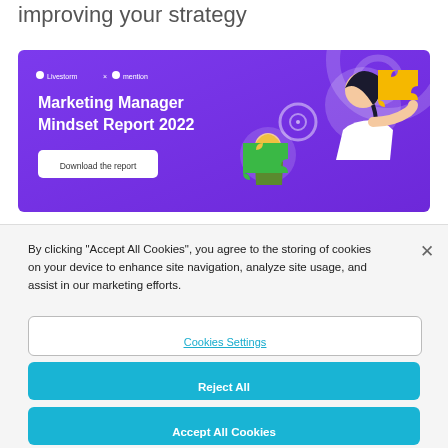improving your strategy
[Figure (screenshot): Marketing Manager Mindset Report 2022 banner with purple background, Livestorm x mention logos, two illustrated characters holding puzzle pieces, and a Download the report button]
By clicking "Accept All Cookies", you agree to the storing of cookies on your device to enhance site navigation, analyze site usage, and assist in our marketing efforts.
Cookies Settings
Reject All
Accept All Cookies